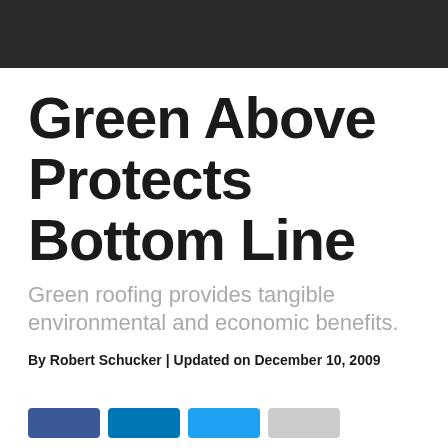Green Above Protects Bottom Line
Green roofing provides tangible environmental and economic benefits.
By Robert Schucker | Updated on December 10, 2009